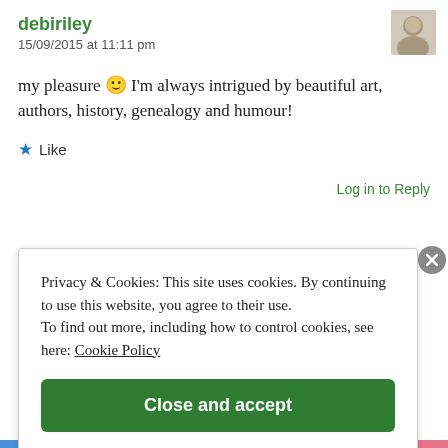debiriley
15/09/2015 at 11:11 pm
my pleasure 🙂 I'm always intrigued by beautiful art, authors, history, genealogy and humour!
★ Like
Log in to Reply
Privacy & Cookies: This site uses cookies. By continuing to use this website, you agree to their use.
To find out more, including how to control cookies, see here: Cookie Policy
Close and accept